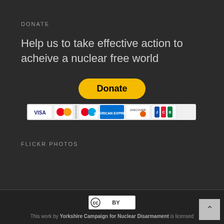DONATE
Help us to take effective action to acheive a nuclear free world
[Figure (other): PayPal Donate button with payment card icons (Visa, Mastercard, Maestro, Amex, Discover, JCB)]
FLICKR PHOTOS
This work by Yorkshire Campaign for Nuclear Disarmament is licensed